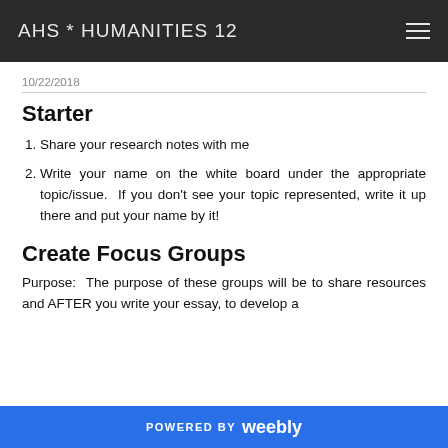AHS * HUMANITIES 12
10/22/2018
Starter
Share your research notes with me
Write your name on the white board under the appropriate topic/issue. If you don't see your topic represented, write it up there and put your name by it!
Create Focus Groups
Purpose: The purpose of these groups will be to share resources and AFTER you write your essay, to develop a
POWERED BY weebly